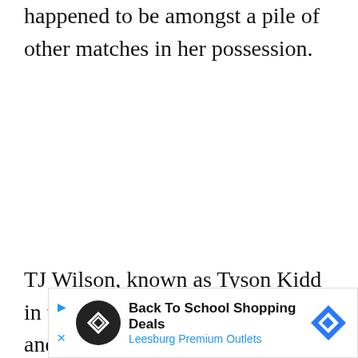happened to be amongst a pile of other matches in her possession.
TJ Wilson, known as Tyson Kidd in the WWE and husband to Bret's niece Natalya Neid... the
[Figure (other): Advertisement banner for Leesburg Premium Outlets Back To School Shopping Deals]